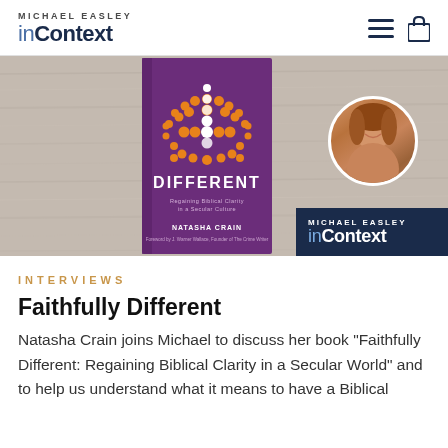MICHAEL EASLEY inContext
[Figure (photo): Hero image showing a book titled 'Faithfully Different: Regaining Biblical Clarity in a Secular Culture' by Natasha Crain on a wooden background, with a circular portrait photo of the author (a woman with reddish-brown hair smiling), and a Michael Easley inContext logo badge in the lower right corner.]
INTERVIEWS
Faithfully Different
Natasha Crain joins Michael to discuss her book "Faithfully Different: Regaining Biblical Clarity in a Secular World" and to help us understand what it means to have a Biblical